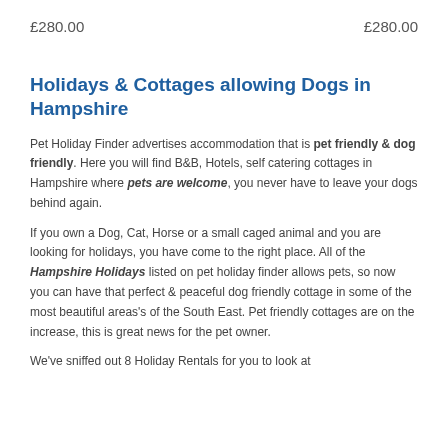£280.00
£280.00
Holidays & Cottages allowing Dogs in Hampshire
Pet Holiday Finder advertises accommodation that is pet friendly & dog friendly. Here you will find B&B, Hotels, self catering cottages in Hampshire where pets are welcome, you never have to leave your dogs behind again.
If you own a Dog, Cat, Horse or a small caged animal and you are looking for holidays, you have come to the right place. All of the Hampshire Holidays listed on pet holiday finder allows pets, so now you can have that perfect & peaceful dog friendly cottage in some of the most beautiful areas's of the South East. Pet friendly cottages are on the increase, this is great news for the pet owner.
We've sniffed out 8 Holiday Rentals for you to look at